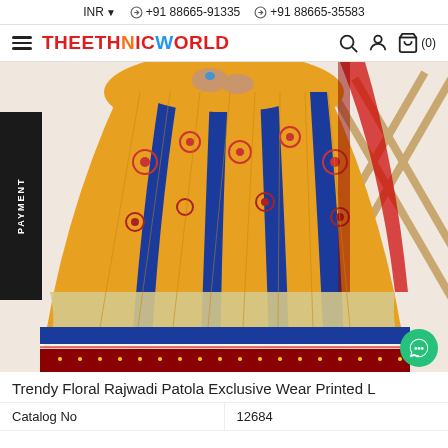INR ▼  © +91 88665-91335  © +91 88665-35583
[Figure (logo): THEETHNICWORLD logo with hamburger menu, search, account, and cart (0) icons]
[Figure (photo): A model wearing a Trendy Floral Rajwadi Patola Exclusive Wear Printed Lehenga in yellow, blue, and red colors with floral patterns. A PAYMENT sidebar label is visible on the left.]
Trendy Floral Rajwadi Patola Exclusive Wear Printed L
| Catalog No | 12684 |
| --- | --- |